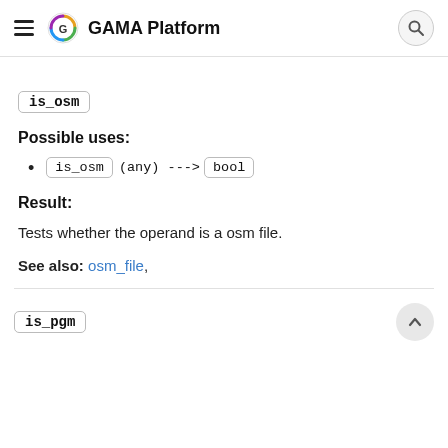GAMA Platform
is_osm
Possible uses:
is_osm (any) ---> bool
Result:
Tests whether the operand is a osm file.
See also: osm_file,
is_pgm